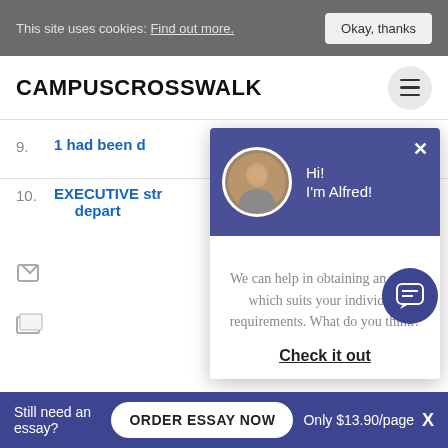This site uses cookies: Find out more. | Okay, thanks
CAMPUSCROSSWALK
9.  1 had been d...
10. EXECUTIVE str... depart...
[Figure (screenshot): Chat popup overlay from Alfred with message: We can help in obtaining an essay which suits your individual requirements. What do you think? Check it out]
Still need an essay?  ORDER ESSAY NOW  Only $13.90/page  X